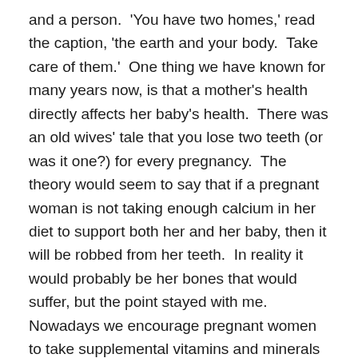and a person.  'You have two homes,' read the caption, 'the earth and your body.  Take care of them.'  One thing we have known for many years now, is that a mother's health directly affects her baby's health.  There was an old wives' tale that you lose two teeth (or was it one?) for every pregnancy.  The theory would seem to say that if a pregnant woman is not taking enough calcium in her diet to support both her and her baby, then it will be robbed from her teeth.  In reality it would probably be her bones that would suffer, but the point stayed with me.  Nowadays we encourage pregnant women to take supplemental vitamins and minerals to ensure the health of mother and child.  We are more conscious of the effects of diet and lifestyle and stress on the development of the baby.

And that does not end when the baby is born.  There are parts of the world where the babies are only healthy as